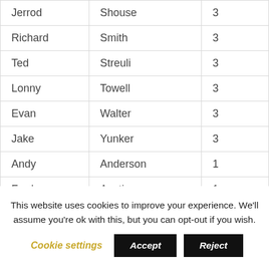| Jerrod | Shouse | 3 |
| Richard | Smith | 3 |
| Ted | Streuli | 3 |
| Lonny | Towell | 3 |
| Evan | Walter | 3 |
| Jake | Yunker | 3 |
| Andy | Anderson | 1 |
| Ford | Austin | 1 |
| Mike | Coats | 1 |
This website uses cookies to improve your experience. We'll assume you're ok with this, but you can opt-out if you wish.
Cookie settings  Accept  Reject